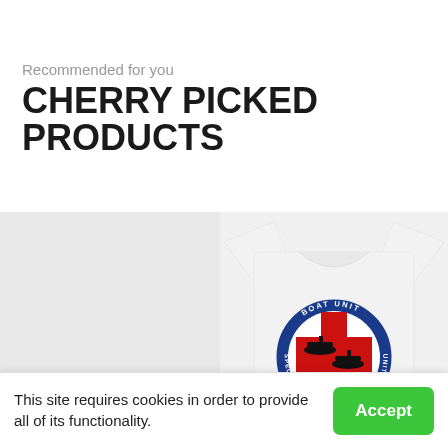Recommended for you
CHERRY PICKED PRODUCTS
[Figure (photo): Left half: blank light gray product image placeholder. Right half: white t-shirt laid flat showing back with a circular logo reading 'BOAT UNIT SPECIAL MARE ISLAND' around silhouettes of military boats on a red and blue background.]
This site requires cookies in order to provide all of its functionality.
Accept